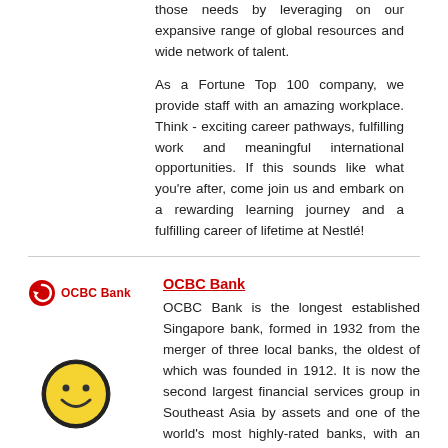those needs by leveraging on our expansive range of global resources and wide network of talent.
As a Fortune Top 100 company, we provide staff with an amazing workplace. Think - exciting career pathways, fulfilling work and meaningful international opportunities. If this sounds like what you're after, come join us and embark on a rewarding learning journey and a fulfilling career of lifetime at Nestlé!
[Figure (logo): OCBC Bank logo with red circular arrow icon and red bold text 'OCBC Bank']
OCBC Bank
OCBC Bank is the longest established Singapore bank, formed in 1932 from the merger of three local banks, the oldest of which was founded in 1912. It is now the second largest financial services group in Southeast Asia by assets and one of the world's most highly-rated banks, with an Aa1 rating from Moody's. Recognised for its financial strength and stability, OCBC Bank is consistently ranked among the World's Top 50 Safest Banks by Global Finance and has been
[Figure (illustration): Yellow smiley face emoji with black circular border]